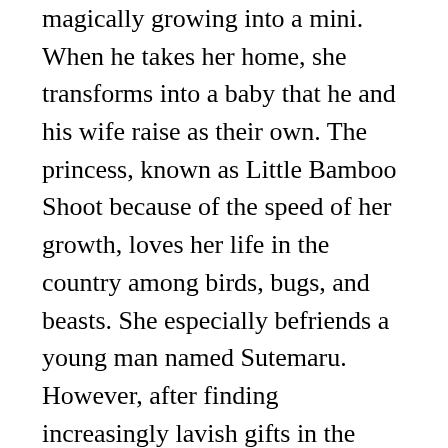magically growing into a mini. When he takes her home, she transforms into a baby that he and his wife raise as their own. The princess, known as Little Bamboo Shoot because of the speed of her growth, loves her life in the country among birds, bugs, and beasts. She especially befriends a young man named Sutemaru. However, after finding increasingly lavish gifts in the bamboo grove, such as gold and noble robes, the bamboo cutter commits to moving the family to the capital and bringing up Little Bamboo Shoot as a princess–the Princess Kaguya. She bristles at the impositions of noble femininity, especially as she must contend with the unwanted advances of the most eligible suitors in the land–court advisors and ultimately the